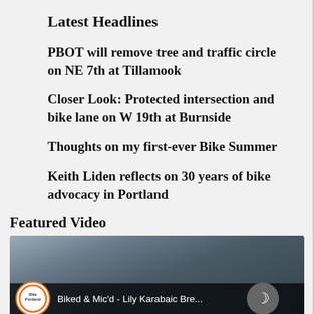Latest Headlines
PBOT will remove tree and traffic circle on NE 7th at Tillamook
Closer Look: Protected intersection and bike lane on W 19th at Burnside
Thoughts on my first-ever Bike Summer
Keith Liden reflects on 30 years of bike advocacy in Portland
Featured Video
[Figure (screenshot): Video thumbnail for 'Biked & Mic'd - Lily Karabaic Bre...' with BikePortland logo and dark mode toggle button]